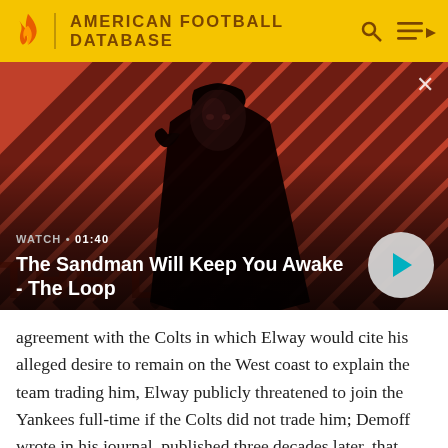AMERICAN FOOTBALL DATABASE
[Figure (screenshot): Video thumbnail showing a dark-clothed figure with a raven on their shoulder against a red and black diagonal striped background. Overlay text reads: WATCH • 01:40 / The Sandman Will Keep You Awake - The Loop. A play button circle is on the right.]
agreement with the Colts in which Elway would cite his alleged desire to remain on the West coast to explain the team trading him, Elway publicly threatened to join the Yankees full-time if the Colts did not trade him; Demoff wrote in his journal, published three decades later, that